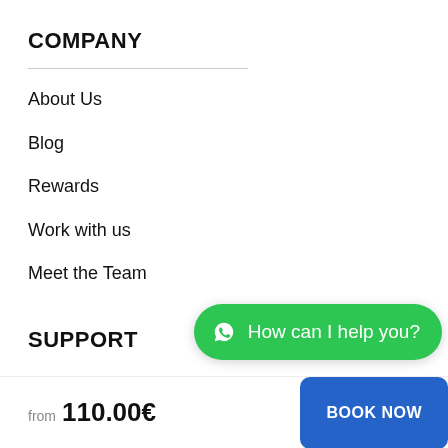COMPANY
About Us
Blog
Rewards
Work with us
Meet the Team
SUPPORT
[Figure (other): WhatsApp chat bubble with text 'How can I help you?']
from 110.00€
BOOK NOW